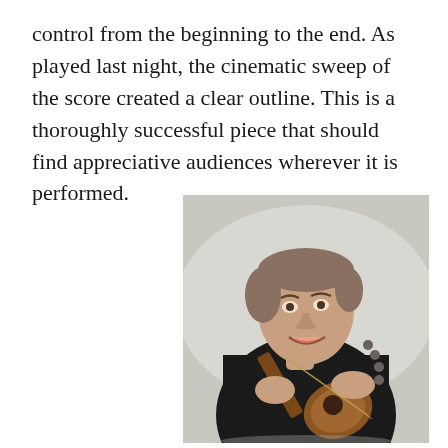control from the beginning to the end. As played last night, the cinematic sweep of the score created a clear outline. This is a thoroughly successful piece that should find appreciative audiences wherever it is performed.
[Figure (photo): A man in a black shirt smiling and holding a mandolin or similar string instrument, photographed against a light grey background.]